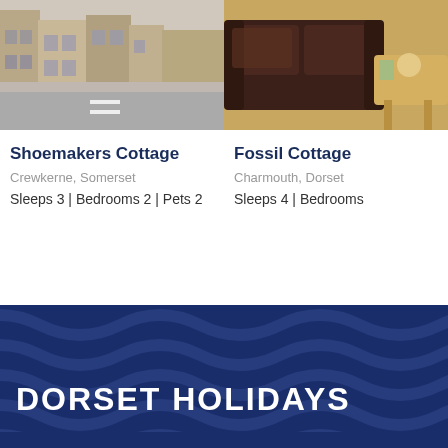[Figure (photo): Street scene with brick buildings and road in Crewkerne, Somerset]
Shoemakers Cottage
Crewkerne, Somerset
Sleeps 3 | Bedrooms 2 | Pets 2
[Figure (photo): Interior living room with dark leather sofa and wooden table]
Fossil Cottage
Charmouth, Dorset
Sleeps 4 | Bedrooms
DORSET HOLIDAYS
The beautiful beaches of the Jurassic Coast; the iconic red